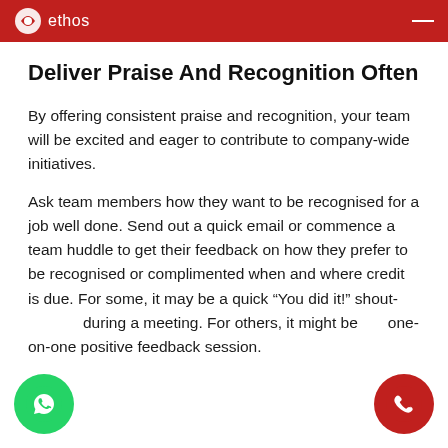ethos
Deliver Praise And Recognition Often
By offering consistent praise and recognition, your team will be excited and eager to contribute to company-wide initiatives.
Ask team members how they want to be recognised for a job well done. Send out a quick email or commence a team huddle to get their feedback on how they prefer to be recognised or complimented when and where credit is due. For some, it may be a quick “You did it!” shout-during a meeting. For others, it might be one-on-one positive feedback session.